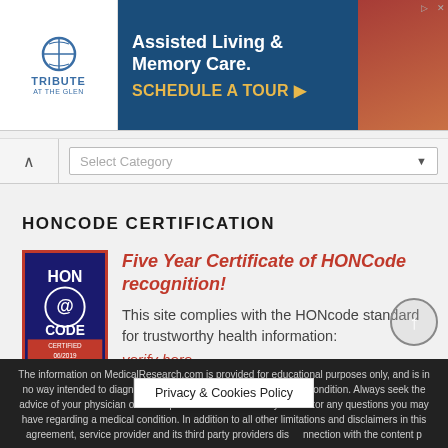[Figure (logo): Tribute at The Glen - Assisted Living & Memory Care advertisement banner with SCHEDULE A TOUR call to action]
Select Category
HONCODE CERTIFICATION
[Figure (logo): HONCode Certified badge with @CODE logo, CERTIFIED 06/2019]
Five Year Certificate of HONCode recognition! This site complies with the HONcode standard for trustworthy health information: verify here.
The information on MedicalResearch.com is provided for educational purposes only, and is in no way intended to diagnose, cure, or treat any medical or other condition. Always seek the advice of your physician or other qualified health and ask your doctor any questions you may have regarding a medical condition. In addition to all other limitations and disclaimers in this agreement, service provider and its third party providers dis... nnection with the content p...
Privacy & Cookies Policy